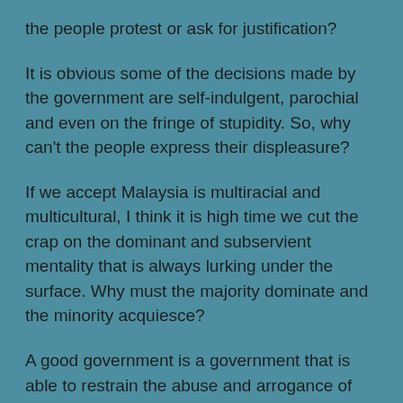the people protest or ask for justification?
It is obvious some of the decisions made by the government are self-indulgent, parochial and even on the fringe of stupidity. So, why can't the people express their displeasure?
If we accept Malaysia is multiracial and multicultural, I think it is high time we cut the crap on the dominant and subservient mentality that is always lurking under the surface. Why must the majority dominate and the minority acquiesce?
A good government is a government that is able to restrain the abuse and arrogance of the majority and protect the legitimate interests of the minority.
A government that irrationally and perversely appeases the majority is a government that chooses the easiest way out to